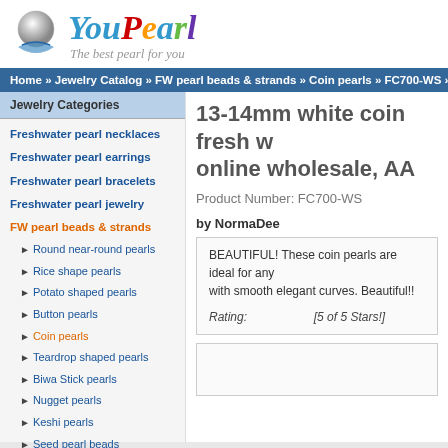[Figure (logo): YouPearl logo with pearl graphic and tagline 'The best pearl for you']
Home » Jewelry Catalog » FW pearl beads & strands » Coin pearls » FC700-WS » F
13-14mm white coin fresh w online wholesale, AA
Product Number: FC700-WS
by NormaDee
BEAUTIFUL! These coin pearls are ideal for any with smooth elegant curves. Beautiful!!
Rating: [5 of 5 Stars!]
Freshwater pearl necklaces
Freshwater pearl earrings
Freshwater pearl bracelets
Freshwater pearl jewelry
FW pearl beads & strands
► Round near-round pearls
► Rice shape pearls
► Potato shaped pearls
► Button pearls
► Coin pearls
► Teardrop shaped pearls
► Biwa Stick pearls
► Nugget pearls
► Keshi pearls
► Seed pearl beads
► Baroque pearls
► Loose pearl beads
Shell pearl jewelry